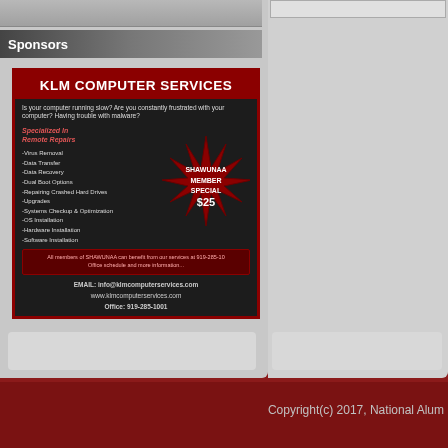Sponsors
[Figure (illustration): KLM Computer Services advertisement on dark background with red star burst showing SHAWUNAA MEMBER SPECIAL $25, services list, and contact information]
Copyright(c) 2017, National Alum...